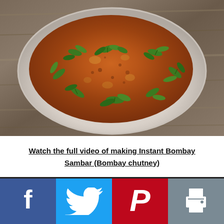[Figure (photo): Overhead view of a white bowl filled with orange-brown Instant Bombay Sambar (Bombay chutney) garnished with fresh green cilantro leaves, placed on a wooden surface.]
Watch the full video of making Instant Bombay Sambar (Bombay chutney)
[Figure (infographic): Social media sharing bar with Facebook (blue), Twitter (light blue), Pinterest (red), and Print (gray) buttons each showing their respective icons.]